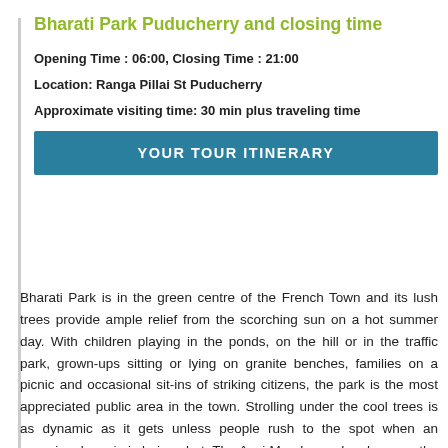Bharati Park Puducherry and closing time
Opening Time : 06:00, Closing Time : 21:00
Location: Ranga Pillai St Puducherry
Approximate visiting time: 30 min plus traveling time
YOUR TOUR ITINERARY
Bharati Park is in the green centre of the French Town and its lush trees provide ample relief from the scorching sun on a hot summer day. With children playing in the ponds, on the hill or in the traffic park, grown-ups sitting or lying on granite benches, families on a picnic and occasional sit-ins of striking citizens, the park is the most appreciated public area in the town. Strolling under the cool trees is as dynamic as it gets unless people rush to the spot when an occasional movie is being shot. The Aayi Mandapam has become the unmistakable centre from which four lanes divide the Park in almost equal parts. The area is dotted with ancient sculptures and not so ancient statues. Around it stand a number of stately